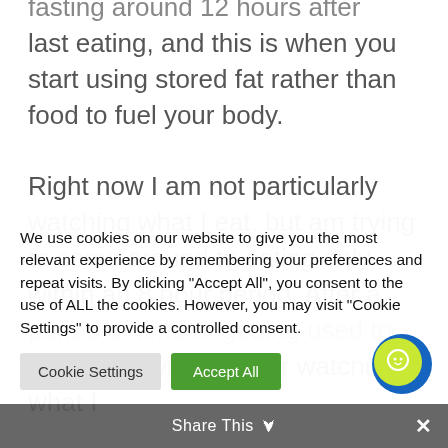fasting around 12 hours after last eating, and this is when you start using stored fat rather than food to fuel your body.

Right now I am not particularly watching what I eat, but am trying to come around to eating only within an 8 hour period. After a period of time of getting used to this then I will consider watching what I
We use cookies on our website to give you the most relevant experience by remembering your preferences and repeat visits. By clicking “Accept All”, you consent to the use of ALL the cookies. However, you may visit “Cookie Settings” to provide a controlled consent.
Cookie Settings | Accept All
Share This ⌄